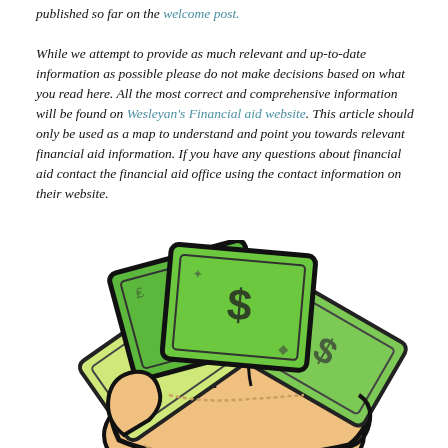published so far on the welcome post.

While we attempt to provide as much relevant and up-to-date information as possible please do not make decisions based on what you read here. All the most correct and comprehensive information will be found on Wesleyan's Financial aid website. This article should only be used as a map to understand and point you towards relevant financial aid information. If you have any questions about financial aid contact the financial aid office using the contact information on their website.
[Figure (illustration): Cartoon illustration of a hand holding a fan of green dollar bills with dollar signs on them, drawn in a bold graphic style with black outlines.]